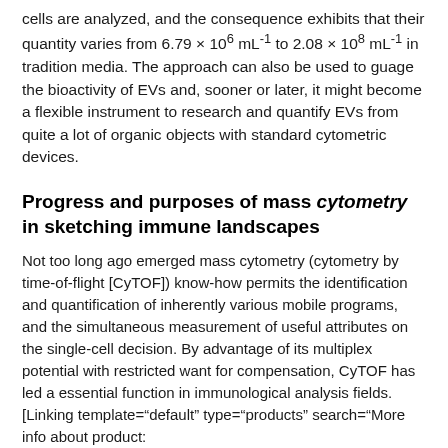cells are analyzed, and the consequence exhibits that their quantity varies from 6.79 × 106 mL-1 to 2.08 × 108 mL-1 in tradition media. The approach can also be used to guage the bioactivity of EVs and, sooner or later, it might become a flexible instrument to research and quantify EVs from quite a lot of organic objects with standard cytometric devices.
Progress and purposes of mass cytometry in sketching immune landscapes
Not too long ago emerged mass cytometry (cytometry by time-of-flight [CyTOF]) know-how permits the identification and quantification of inherently various mobile programs, and the simultaneous measurement of useful attributes on the single-cell decision. By advantage of its multiplex potential with restricted want for compensation, CyTOF has led a essential function in immunological analysis fields. [Linking template="default" type="products" search="More info about product: